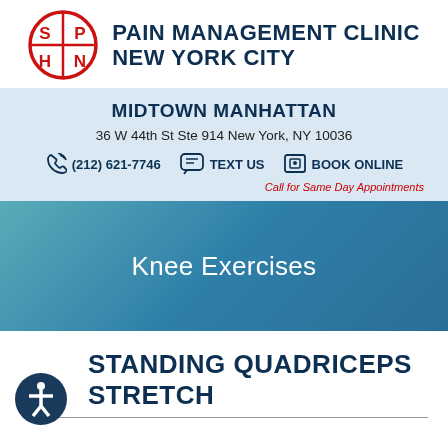[Figure (logo): Pain Management Clinic NYC logo: red circle with S P H N grid symbol and clinic name in dark navy bold text]
MIDTOWN MANHATTAN
36 W 44th St Ste 914 New York, NY 10036
(212) 621-7746   TEXT US   BOOK ONLINE
Call for Same Day Appointments
Knee Exercises
STANDING QUADRICEPS STRETCH